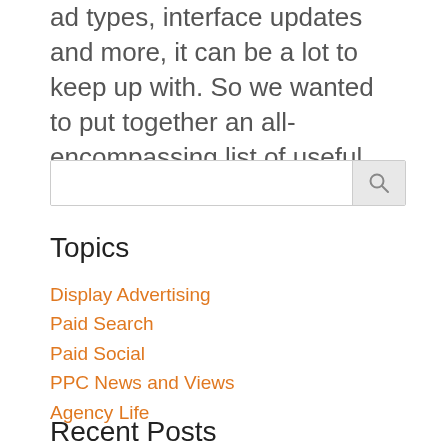ad types, interface updates and more, it can be a lot to keep up with. So we wanted to put together an all-encompassing list of useful links for...
Topics
Display Advertising
Paid Search
Paid Social
PPC News and Views
Agency Life
Recent Posts